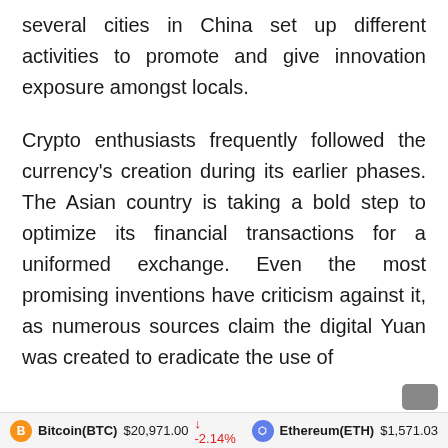several cities in China set up different activities to promote and give innovation exposure amongst locals.
Crypto enthusiasts frequently followed the currency's creation during its earlier phases. The Asian country is taking a bold step to optimize its financial transactions for a uniformed exchange. Even the most promising inventions have criticism against it, as numerous sources claim the digital Yuan was created to eradicate the use of
Bitcoin(BTC) $20,971.00 ↓ -2.14%    Ethereum(ETH) $1,571.03